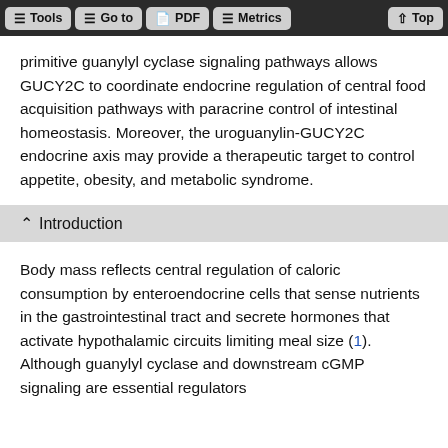Tools | Go to | PDF | Metrics | Top
primitive guanylyl cyclase signaling pathways allows GUCY2C to coordinate endocrine regulation of central food acquisition pathways with paracrine control of intestinal homeostasis. Moreover, the uroguanylin-GUCY2C endocrine axis may provide a therapeutic target to control appetite, obesity, and metabolic syndrome.
^ Introduction
Body mass reflects central regulation of caloric consumption by enteroendocrine cells that sense nutrients in the gastrointestinal tract and secrete hormones that activate hypothalamic circuits limiting meal size (1). Although guanylyl cyclase and downstream cGMP signaling are essential regulators